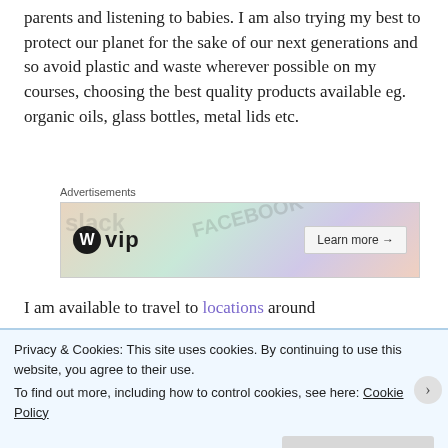parents and listening to babies. I am also trying my best to protect our planet for the sake of our next generations and so avoid plastic and waste wherever possible on my courses, choosing the best quality products available eg. organic oils, glass bottles, metal lids etc.
[Figure (other): WordPress VIP advertisement banner with colorful background showing logos of various platforms and a 'Learn more →' button]
I am available to travel to locations around
Privacy & Cookies: This site uses cookies. By continuing to use this website, you agree to their use.
To find out more, including how to control cookies, see here: Cookie Policy
Close and accept